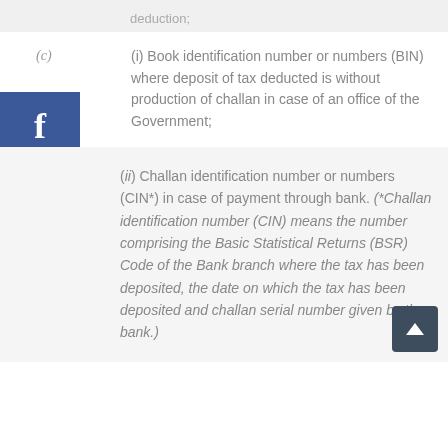deduction;
(c) (i) Book identification number or numbers (BIN) where deposit of tax deducted is without production of challan in case of an office of the Government;
(ii) Challan identification number or numbers (CIN*) in case of payment through bank. (*Challan identification number (CIN) means the number comprising the Basic Statistical Returns (BSR) Code of the Bank branch where the tax has been deposited, the date on which the tax has been deposited and challan serial number given by the bank.)